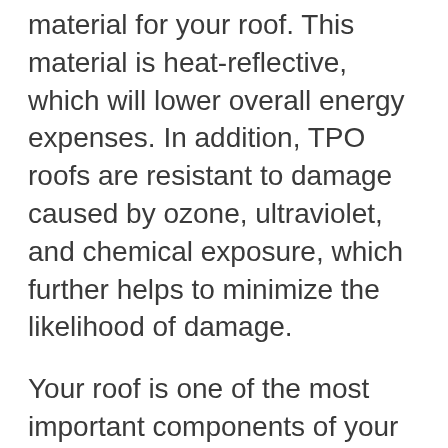material for your roof. This material is heat-reflective, which will lower overall energy expenses. In addition, TPO roofs are resistant to damage caused by ozone, ultraviolet, and chemical exposure, which further helps to minimize the likelihood of damage.
Your roof is one of the most important components of your Morgan County home. It keeps the weather out and the heat in. Another important component is the gutter system of your home. This system helps to redirect destructive water flow away from your building. It is important to ensure that your gutter system remains in good condition and is capable of effectively functioning. To